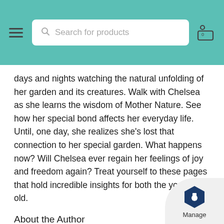[Figure (screenshot): Website header bar with teal/green background containing a hamburger menu icon on the left, a search box with placeholder text 'Search for products' in the center, and a shopping cart icon on the right]
days and nights watching the natural unfolding of her garden and its creatures. Walk with Chelsea as she learns the wisdom of Mother Nature. See how her special bond affects her everyday life. Until, one day, she realizes she's lost that connection to her special garden. What happens now? Will Chelsea ever regain her feelings of joy and freedom again? Treat yourself to these pages that hold incredible insights for both the young and old.
About the Author
Laura Lamb was born and raised in Atlanta, Ga wh has spent 41 years as an educator, both as a clas teacher and as a tutoring business owner. Over t she has witnessed firsthand how stress and a